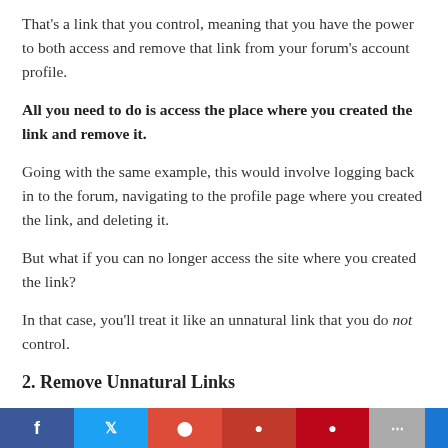That's a link that you control, meaning that you have the power to both access and remove that link from your forum's account profile.
All you need to do is access the place where you created the link and remove it.
Going with the same example, this would involve logging back in to the forum, navigating to the profile page where you created the link, and deleting it.
But what if you can no longer access the site where you created the link?
In that case, you'll treat it like an unnatural link that you do not control.
2. Remove Unnatural Links
[Figure (other): Social sharing bar with Facebook, Twitter, Google+, LinkedIn, Pinterest, more, and an additional button]